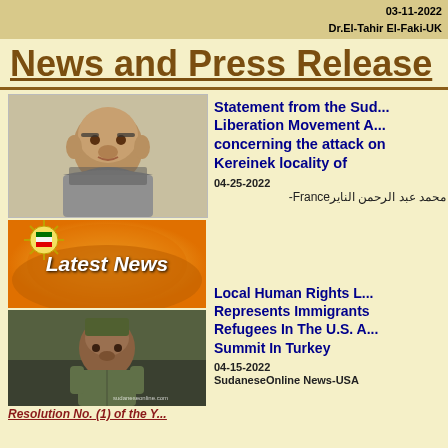03-11-2022
Dr.El-Tahir El-Faki-UK
News and Press Release
[Figure (photo): Portrait photo of a man with glasses]
Statement from the Sudan Liberation Movement A... concerning the attack on Kereinek locality of
04-25-2022
محمد عبد الرحمن الناير-France
[Figure (logo): Latest News banner with orange background and Sudanese emblem]
[Figure (photo): Photo of a soldier in military uniform, watermarked sudaneseonline.com]
Resolution No. (1) of the Y...
Local Human Rights L... Represents Immigrants Refugees In The U.S. A... Summit In Turkey
04-15-2022
SudaneseOnline News-USA